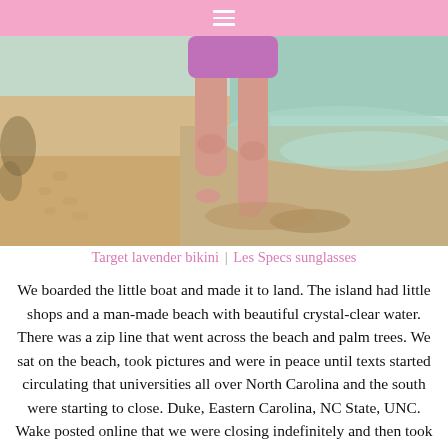≡
[Figure (photo): Person in a lavender/purple bikini standing on a sandy beach near crystal-clear shallow water, legs visible from waist down.]
Target lavender bikini | Les Specs sunglasses
We boarded the little boat and made it to land. The island had little shops and a man-made beach with beautiful crystal-clear water. There was a zip line that went across the beach and palm trees. We sat on the beach, took pictures and were in peace until texts started circulating that universities all over North Carolina and the south were starting to close. Duke, Eastern Carolina, NC State, UNC. Wake posted online that we were closing indefinitely and then took